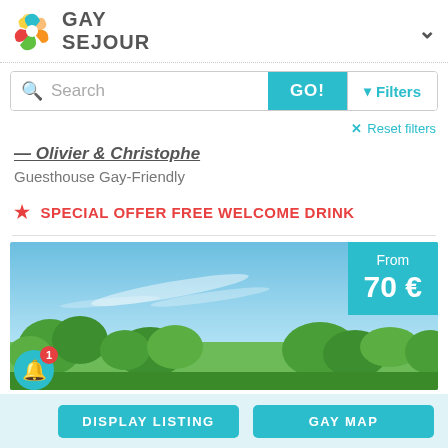[Figure (logo): Gay Sejour logo with colorful swirl and text]
Search
GO!
Filters
Reset filters
Olivier & Christophe
Guesthouse Gay-Friendly
SPECIAL OFFER FREE WELCOME DRINK
[Figure (photo): Landscape photo showing blue sky with trees in foreground, price badge showing From 70 €]
DISPLAY LISTING
GAY MAP